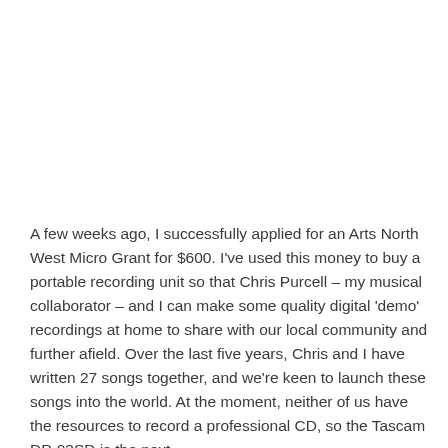A few weeks ago, I successfully applied for an Arts North West Micro Grant for $600. I've used this money to buy a portable recording unit so that Chris Purcell – my musical collaborator – and I can make some quality digital 'demo' recordings at home to share with our local community and further afield. Over the last five years, Chris and I have written 27 songs together, and we're keen to launch these songs into the world. At the moment, neither of us have the resources to record a professional CD, so the Tascam DP-03SD is the next